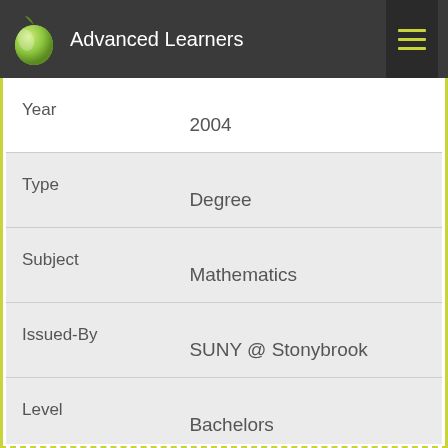Advanced Learners
| Field | Value |
| --- | --- |
| Year | 2004 |
| Type | Degree |
| Subject | Mathematics |
| Issued-By | SUNY @ Stonybrook |
| Level | Bachelors |
| Year | 2003 |